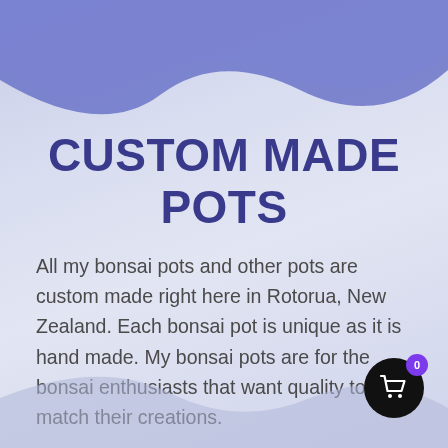[Figure (illustration): Wavy blue/purple decorative header band at the top of the page and a smaller wave at the bottom]
CUSTOM MADE POTS
All my bonsai pots and other pots are custom made right here in Rotorua, New Zealand. Each bonsai pot is unique as it is hand made. My bonsai pots are for the bonsai enthusiasts that want quality to match their creations.
[Figure (illustration): Black circular shopping cart button with purple badge showing 0]